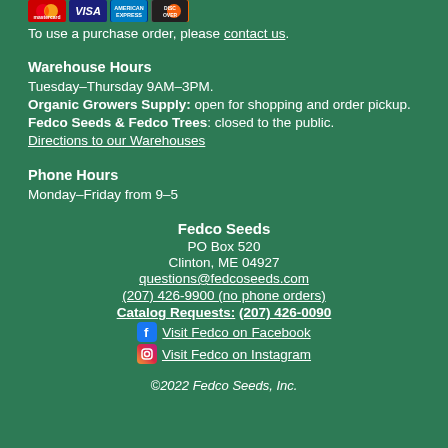[Figure (logo): Credit card icons: Mastercard, Visa, American Express, Discover]
To use a purchase order, please contact us.
Warehouse Hours
Tuesday–Thursday 9AM–3PM.
Organic Growers Supply: open for shopping and order pickup.
Fedco Seeds & Fedco Trees: closed to the public.
Directions to our Warehouses
Phone Hours
Monday–Friday from 9–5
Fedco Seeds
PO Box 520
Clinton, ME 04927
questions@fedcoseeds.com
(207) 426-9900 (no phone orders)
Catalog Requests: (207) 426-0090
Visit Fedco on Facebook
Visit Fedco on Instagram
©2022 Fedco Seeds, Inc.